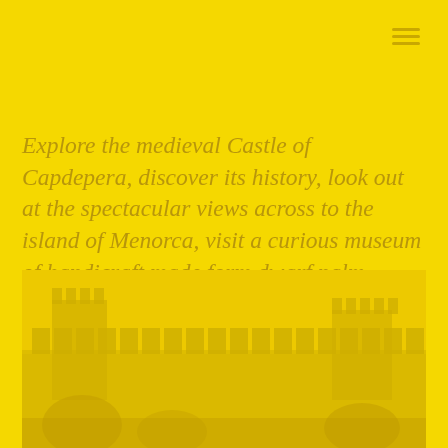Explore the medieval Castle of Capdepera, discover its history, look out at the spectacular views across to the island of Menorca, visit a curious museum of handicraft made form dwarf palm leaves or watch the breathtaking flight of the falcons.
[Figure (photo): Yellow-tinted photo of the medieval Castle of Capdepera showing battlements and castle walls with trees, viewed from below at an angle]